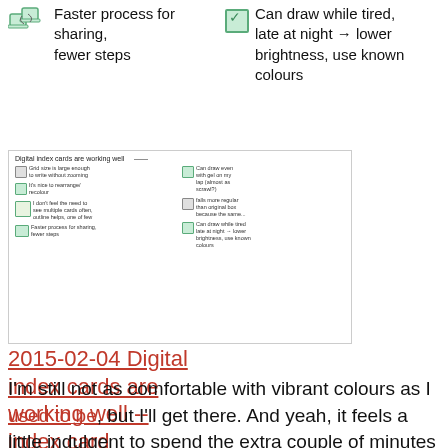Faster process for sharing, fewer steps
Can draw while tired, late at night → lower brightness, use known colours
[Figure (screenshot): Thumbnail of a handwritten digital index card note titled 'Digital index cards are working well' with two columns of bullet points and small icons]
2015-02-04 Digital index cards are working well -- index card #drawing #digital
I'm still not as comfortable with vibrant colours as I used to be, but I'll get there. And yeah, it feels a little indulgent to spend the extra couple of minutes colouring each card